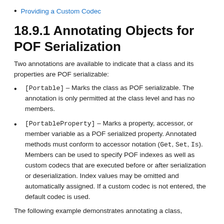Providing a Custom Codec
18.9.1 Annotating Objects for POF Serialization
Two annotations are available to indicate that a class and its properties are POF serializable:
[Portable] – Marks the class as POF serializable. The annotation is only permitted at the class level and has no members.
[PortableProperty] – Marks a property, accessor, or member variable as a POF serialized property. Annotated methods must conform to accessor notation (Get, Set, Is). Members can be used to specify POF indexes as well as custom codecs that are executed before or after serialization or deserialization. Index values may be omitted and automatically assigned. If a custom codec is not entered, the default codec is used.
The following example demonstrates annotating a class,